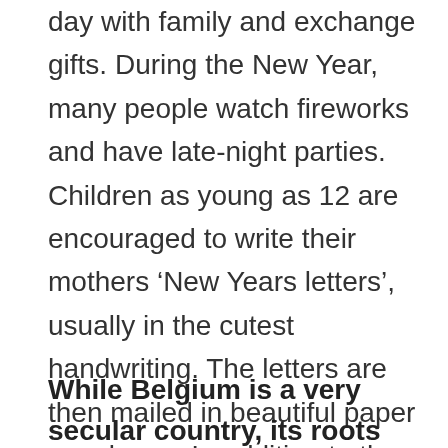day with family and exchange gifts. During the New Year, many people watch fireworks and have late-night parties. Children as young as 12 are encouraged to write their mothers ‘New Years letters’, usually in the cutest handwriting. The letters are then mailed in beautiful paper envelopes. In addition to the many festivities during these holidays, children also enjoy watching films, and New Year’s Eve is a time when families and friends celebrate with mulled wine.
While Belgium is a very secular country, its roots are in the Christian religion, and many